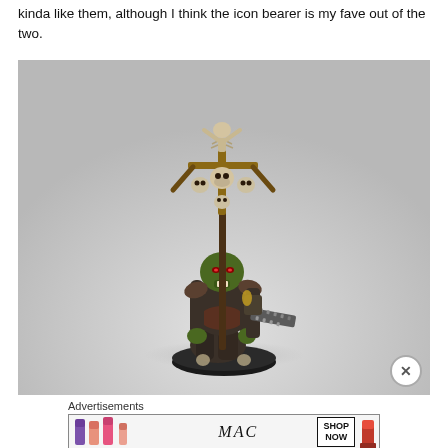kinda like them, although I think the icon bearer is my fave out of the two.
[Figure (photo): A painted Warhammer fantasy miniature figure — an orc/ork icon bearer holding a staff topped with skeletal decorations and skulls, carrying a chainsaw weapon, painted in dark greens, browns, and metallics, on a round black base, photographed against a light grey background.]
Advertisements
[Figure (photo): MAC cosmetics advertisement banner showing colorful lipsticks on the left, the MAC logo in the center, a 'SHOP NOW' button, and a red lipstick on the right.]